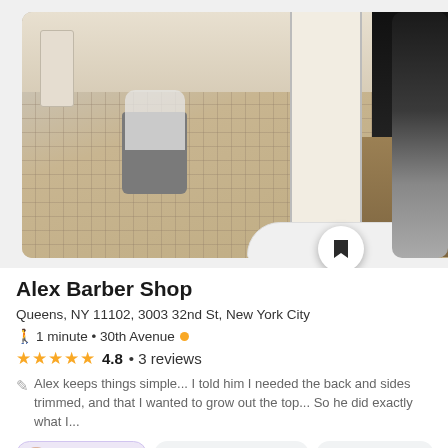[Figure (photo): Photo of a bathroom interior with tile floor, trash can, toilet visible at bottom, and a person wearing khaki pants with tattoos on arm. A partial second photo is visible on the right edge.]
Alex Barber Shop
Queens, NY 11102, 3003 32nd St, New York City
🚶 1 minute • 30th Avenue
★★★★★ 4.8 • 3 reviews
Alex keeps things simple... I told him I needed the back and sides trimmed, and that I wanted to grow out the top... So he did exactly what I...
Open until 7PM  Beauty salons and spas  Men's hair styling  Me...